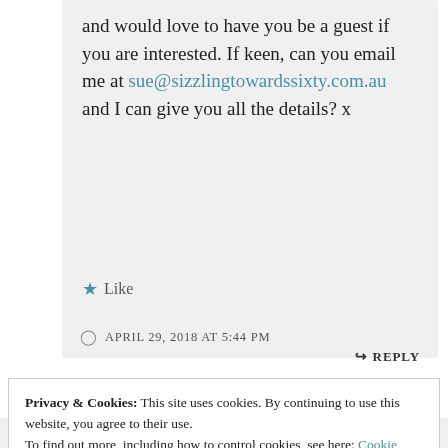and would love to have you be a guest if you are interested. If keen, can you email me at sue@sizzlingtowardssixty.com.au and I can give you all the details? x
★ Like
APRIL 29, 2018 AT 5:44 PM
↪ REPLY
Privacy & Cookies: This site uses cookies. By continuing to use this website, you agree to their use. To find out more, including how to control cookies, see here: Cookie Policy
Close and accept
Good morning Sue, I am